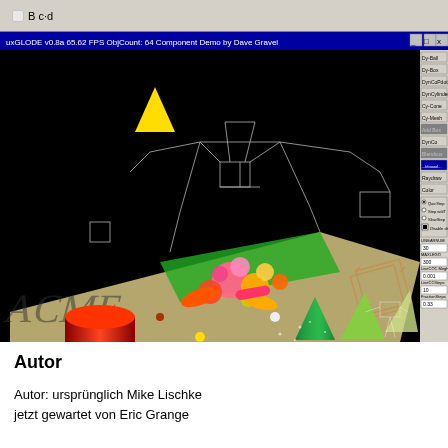[Figure (screenshot): Screenshot of uxGLODE v0.8a physics simulation software showing a 3D scene with various objects including colored spheres, capsules, cones, wireframe structures, and a textured ground plane. A UI panel on the right shows buttons like Dy-Ball, Dy-Box, DynCoPdot, DynCylinder, Cy-Cone, Cy-Mesh, Add Box, DynCo, Blendcos, Color, and simulation controls including QuicStep, Step w/dT, SlowStep, Disable dt options, and parameters for LINEARNUM, MAXLEGO, LINECC MegHD, LineCCSteps, FractionSteps.]
Autor
Autor: ursprünglich Mike Lischke
jetzt gewartet von Eric Grange